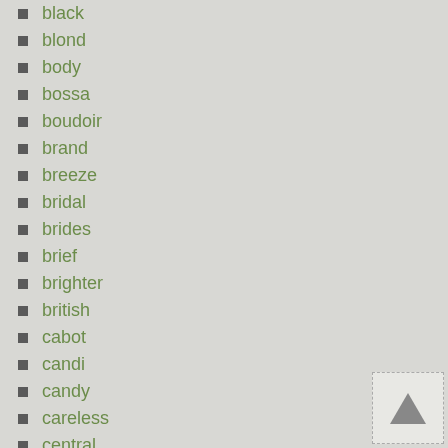black
blond
body
bossa
boudoir
brand
breeze
bridal
brides
brief
brighter
british
cabot
candi
candy
careless
central
changing
charlize